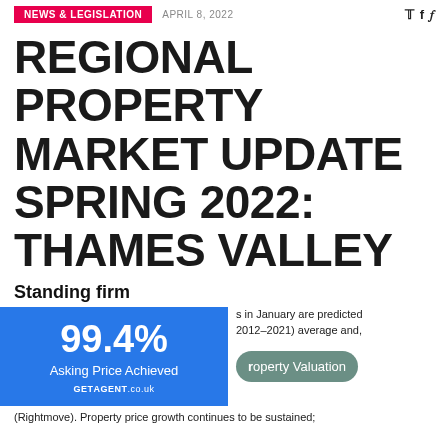NEWS & LEGISLATION   APRIL 8, 2022
REGIONAL PROPERTY MARKET UPDATE SPRING 2022: THAMES VALLEY
Standing firm
[Figure (infographic): Blue box showing 99.4% Asking Price Achieved, branded GETAGENT.co.uk]
s in January are predicted 2012–2021) average and,
roperty Valuation
(Rightmove). Property price growth continues to be sustained;